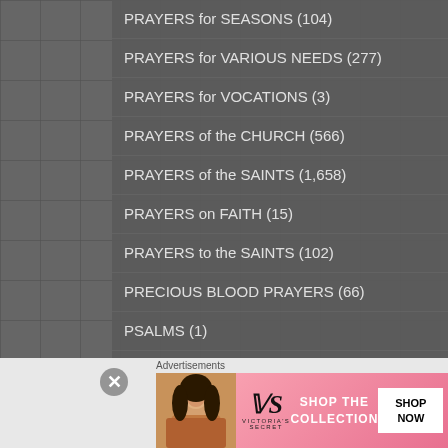PRAYERS for SEASONS (104)
PRAYERS for VARIOUS NEEDS (277)
PRAYERS for VOCATIONS (3)
PRAYERS of the CHURCH (566)
PRAYERS of the SAINTS (1,658)
PRAYERS on FAITH (15)
PRAYERS to the SAINTS (102)
PRECIOUS BLOOD PRAYERS (66)
PSALMS (1)
PURGATORY (55)
QUARANTINES (1)
Advertisements
[Figure (advertisement): Victoria's Secret advertisement banner with model photo, VS logo, 'SHOP THE COLLECTION' text, and 'SHOP NOW' button]